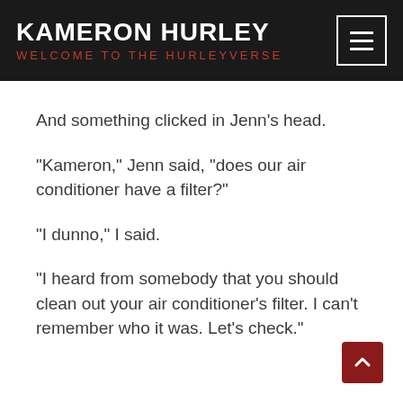KAMERON HURLEY — WELCOME TO THE HURLEYVERSE
And something clicked in Jenn's head.
“Kameron,” Jenn said, “does our air conditioner have a filter?”
“I dunno,” I said.
“I heard from somebody that you should clean out your air conditioner’s filter. I can’t remember who it was. Let’s check.”